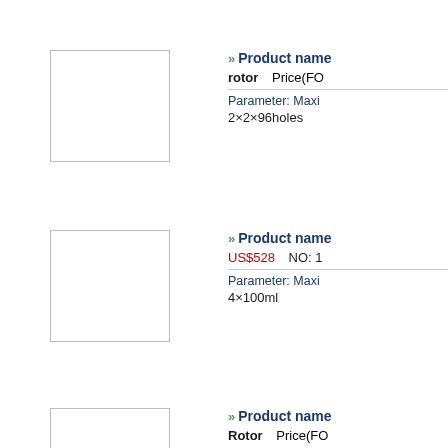[Figure (photo): Product image placeholder box 1 - empty white rectangle with border]
» Product name
rotor   Price(FO...
Parameter: Maxi...
2×2×96holes
[Figure (photo): Product image placeholder box 2 - empty white rectangle with border]
» Product name
US$528   NO: 1...
Parameter: Maxi...
4×100ml
[Figure (photo): Product image placeholder box 3 - empty white rectangle with border]
» Product name
Rotor   Price(FO...